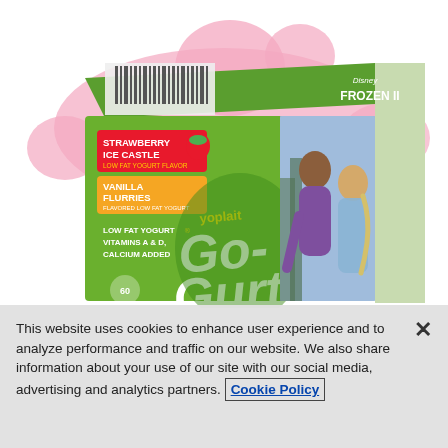[Figure (photo): Yoplait Go-Gurt box featuring Disney Frozen II characters (Anna and Elsa). Green box with Go-Gurt logo, showing Strawberry Ice Castle and Vanilla Flurries flavors, Low Fat Yogurt with Vitamins A & D, Calcium Added. Pink splash design in background.]
This website uses cookies to enhance user experience and to analyze performance and traffic on our website. We also share information about your use of our site with our social media, advertising and analytics partners. Cookie Policy